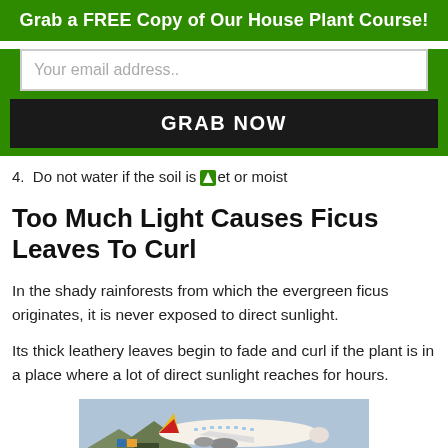Grab a FREE Copy of Our House Plant Course!
Your email address..
GRAB NOW
4.  Do not water if the soil is wet or moist
Too Much Light Causes Ficus Leaves To Curl
In the shady rainforests from which the evergreen ficus originates, it is never exposed to direct sunlight.
Its thick leathery leaves begin to fade and curl if the plant is in a place where a lot of direct sunlight reaches for hours.
[Figure (photo): Advertisement banner showing a cargo airplane being loaded, with text 'WITHOUT REGARD TO POLITICS, RELIGION, OR ABILITY TO PAY']